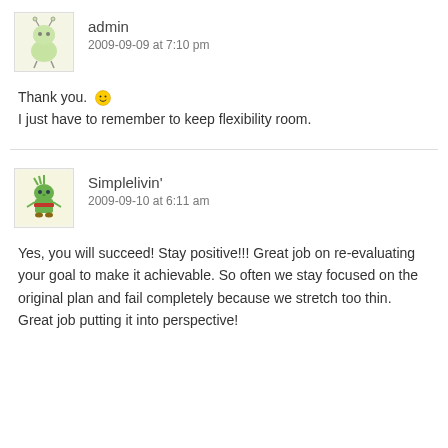[Figure (illustration): Green cartoon bug/robot avatar with antenna, for user 'admin']
admin
2009-09-09 at 7:10 pm
Thank you. 🙂
I just have to remember to keep flexibility room.
[Figure (illustration): Green cartoon elf/gnome avatar with red belt, for user 'Simplelivin']
Simplelivin'
2009-09-10 at 6:11 am
Yes, you will succeed! Stay positive!!! Great job on re-evaluating your goal to make it achievable. So often we stay focused on the original plan and fail completely because we stretch too thin. Great job putting it into perspective!